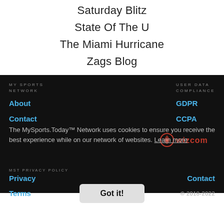Saturday Blitz
State Of The U
The Miami Hurricane
Zags Blog
MY SPORTS NETWORK | USER DATA COMPLIANCE | About | GDPR | Contact | CCPA | MST PRIVACY POLICY | Privacy | Contact | Terms | © 2018-2022